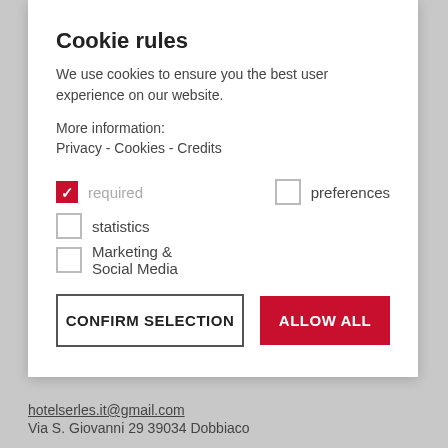Cookie rules
We use cookies to ensure you the best user experience on our website.
More information:
Privacy - Cookies - Credits
required (checked)
preferences
statistics
Marketing & Social Media
CONFIRM SELECTION | ALLOW ALL
hotelserles.it@gmail.com
Via S. Giovanni 29 39034 Dobbiaco
more information >